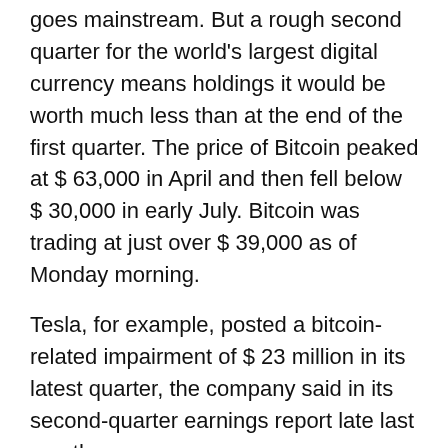goes mainstream. But a rough second quarter for the world's largest digital currency means holdings it would be worth much less than at the end of the first quarter. The price of Bitcoin peaked at $ 63,000 in April and then fell below $ 30,000 in early July. Bitcoin was trading at just over $ 39,000 as of Monday morning.
Tesla, for example, posted a bitcoin-related impairment of $ 23 million in its latest quarter, the company said in its second-quarter earnings report late last month.
Square said it still saw “significant growth in bitcoin revenue year-over-year” this last quarter. Bitcoin’s revenue amounted to $ 2.72 billion, roughly three times that year over year. At the same time, bitcoin’s gross profit was $ 55 million, or about 2% of bitcoin’s revenue.
Meanwhile, gross profit increased 91% over the previous